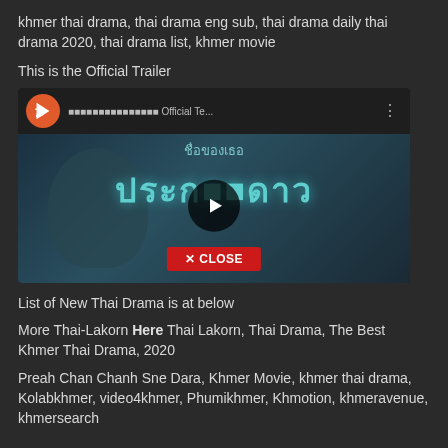khmer thai drama, thai drama eng sub, thai drama daily thai drama 2020, thai drama list, khmer movie
This is the Official Trailer
[Figure (screenshot): Embedded YouTube video thumbnail showing Thai drama trailer with Thai text overlay 'ชื่อของเธอ' and large text 'ประกาศ ดาว', play button in center and red CLOSE button at bottom]
List of New Thai Drama is at below
More Thai-Lakorn Here Thai Lakorn, Thai Drama, The Best Khmer Thai Drama, 2020
Preah Chan Chanh Sne Dara, Khmer Movie, khmer thai drama, Kolabkhmer, video4khmer, Phumikhmer, Khmotion, khmeravenue, khmersearch